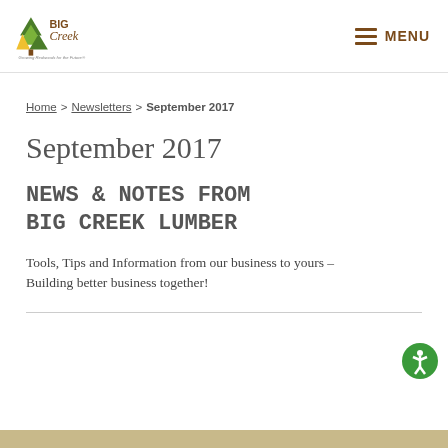Big Creek — Growing Redwoods for the Future | MENU
Home > Newsletters > September 2017
September 2017
NEWS & NOTES FROM BIG CREEK LUMBER
Tools, Tips and Information from our business to yours – Building better business together!